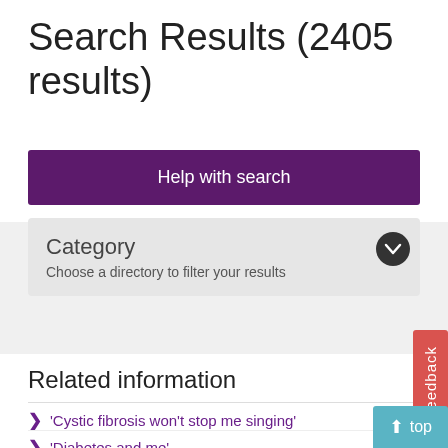Search Results (2405 results)
Help with search
Category
Choose a directory to filter your results
Related information
'Cystic fibrosis won't stop me singing'
'Diabetes and me'
'Going dry for a month boosted my health'
'Hearing aids make life better'